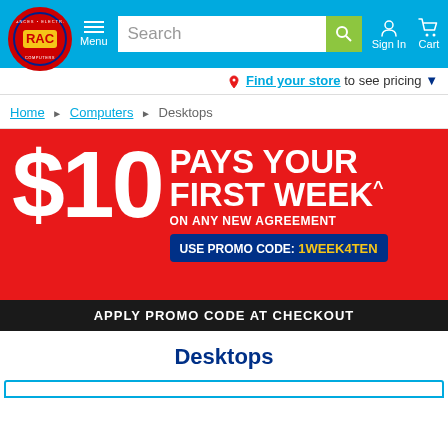[Figure (logo): RAC Rent-A-Center logo circle with red background]
Menu  Search  Sign In  Cart
Find your store to see pricing
Home > Computers > Desktops
[Figure (infographic): $10 PAYS YOUR FIRST WEEK^ ON ANY NEW AGREEMENT. USE PROMO CODE: 1WEEK4TEN. APPLY PROMO CODE AT CHECKOUT.]
Desktops